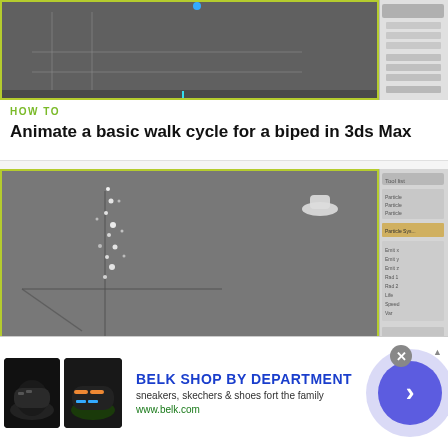[Figure (screenshot): 3ds Max viewport and panel screenshot showing a walk cycle animation for a biped]
HOW TO
Animate a basic walk cycle for a biped in 3ds Max
[Figure (screenshot): 3ds Max viewport and panel screenshot showing particle system with crosshair and floating particles]
HOW TO
Use the basics of particles in 3D Studio MAX
[Figure (photo): Advertisement banner for Belk Shop by Department featuring sneakers and shoes]